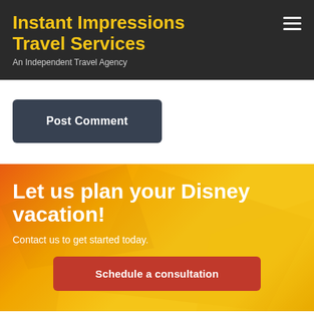Instant Impressions Travel Services
An Independent Travel Agency
Post Comment
Let us plan your Disney vacation!
Contact us to get started today.
Schedule a consultation